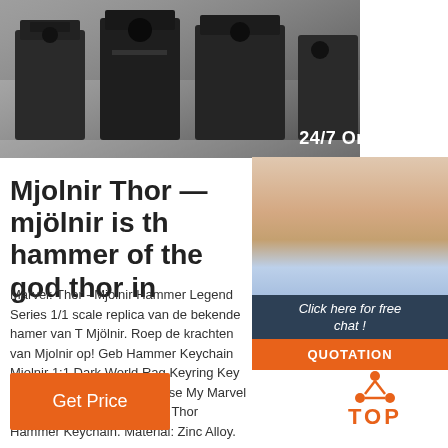[Figure (photo): Photo of industrial machinery (dark metal machines) in a workshop setting]
[Figure (photo): Customer service agent (woman with headset) photo with 24/7 Online chat panel, 'Click here for free chat!' text, and orange QUOTATION button on dark blue background]
Mjolnir Thor — mjölnir is th hammer of the god thor in
Marvel: Thor - Mjolnir Hammer Legend Series 1/1 scale replica van de bekende hamer van T Mjölnir. Roep de krachten van Mjolnir op! Geb Hammer Keychain Mjolnir 1:1 Dark World Rag Keyring Key Chain Ring Viking Odin Norse My Marvel Avenger Wholesale. Name: Thor Hammer Keychain. Material: Zinc Alloy.
[Figure (logo): Orange TOP logo with dot-triangle above text]
Get Price